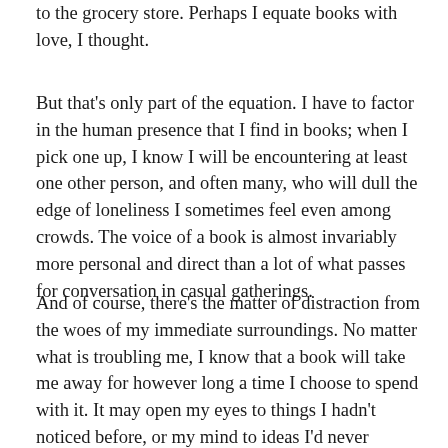to the grocery store. Perhaps I equate books with love, I thought.
But that's only part of the equation. I have to factor in the human presence that I find in books; when I pick one up, I know I will be encountering at least one other person, and often many, who will dull the edge of loneliness I sometimes feel even among crowds. The voice of a book is almost invariably more personal and direct than a lot of what passes for conversation in casual gatherings.
And of course, there's the matter of distraction from the woes of my immediate surroundings. No matter what is troubling me, I know that a book will take me away for however long a time I choose to spend with it. It may open my eyes to things I hadn't noticed before, or my mind to ideas I'd never encountered. It may introduce me to